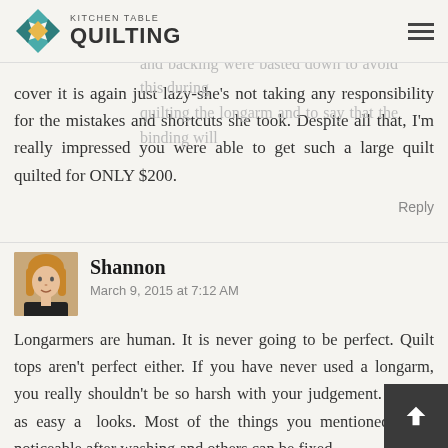KITCHEN TABLE QUILTING
make sense to me. I thought the edges of the top and backing were basted down to avoid this during quilting the longarm and to say that the binding will cover it is again just lazy-she's not taking any responsibility for the mistakes and shortcuts she took. Despite all that, I'm really impressed you were able to get such a large quilt quilted for ONLY $200.
Reply
Shannon
March 9, 2015 at 7:12 AM
Longarmers are human. It is never going to be perfect. Quilt tops aren't perfect either. If you have never used a longarm, you really shouldn't be so harsh with your judgement. It's not as easy as it looks. Most of the things you mentioned won't be noticeable after washing and others can be fixed